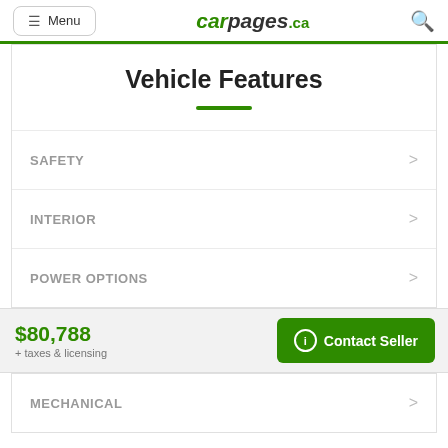Menu | carpages.ca
Vehicle Features
SAFETY
INTERIOR
POWER OPTIONS
$80,788
+ taxes & licensing
Contact Seller
MECHANICAL